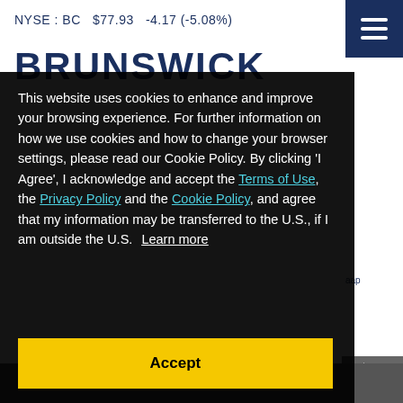NYSE : BC   $77.93   -4.17 (-5.08%)
BRUNSWICK
This website uses cookies to enhance and improve your browsing experience. For further information on how we use cookies and how to change your browser settings, please read our Cookie Policy. By clicking 'I Agree', I acknowledge and accept the Terms of Use, the Privacy Policy and the Cookie Policy, and agree that my information may be transferred to the U.S., if I am outside the U.S.  Learn more
Accept
minutes
ges).
owered